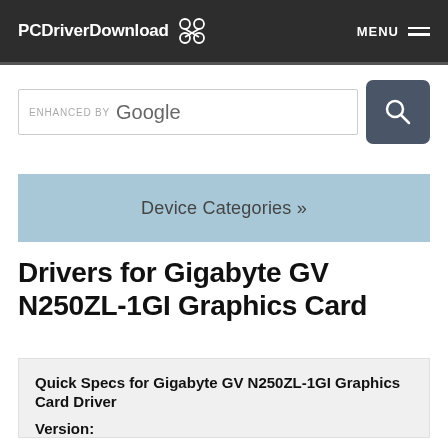PCDriverDownload  MENU
[Figure (screenshot): Search bar with 'ENHANCED BY Google' placeholder text and a search button with magnifying glass icon]
Device Categories »
Drivers for Gigabyte GV N250ZL-1GI Graphics Card
Quick Specs for Gigabyte GV N250ZL-1GI Graphics Card Driver
Version: